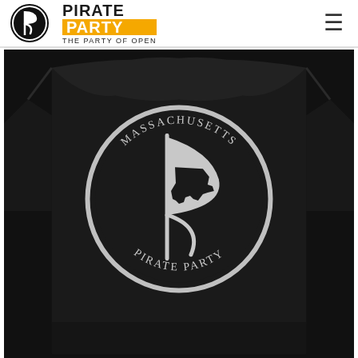Pirate Party - The Party of Open
[Figure (photo): Person wearing a black t-shirt showing the back with Massachusetts Pirate Party circular logo in white/silver on black background. The logo features the pirate flag symbol with the state of Massachusetts silhouette inside, and text reading MASSACHUSETTS at the top and PIRATE PARTY at the bottom.]